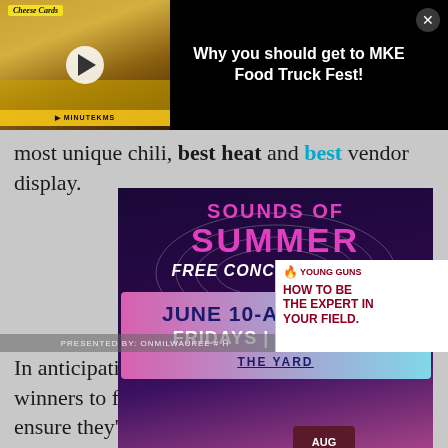[Figure (screenshot): Video overlay with food truck thumbnail and title 'Why you should get to MKE Food Truck Fest!' with a close (X) button]
most unique chili, best heat and best vendor display.
[Figure (infographic): Summer Free Concert Series advertisement: JUNE 10-AUGUST 26, FRIDAYS | 6PM - 8PM, THE YARD, with AUG 25 badge and Young Guns ad overlay]
In anticipation of the event, we ar... year's winners to find out if they'... up their sleeves to ensure they'll take home the